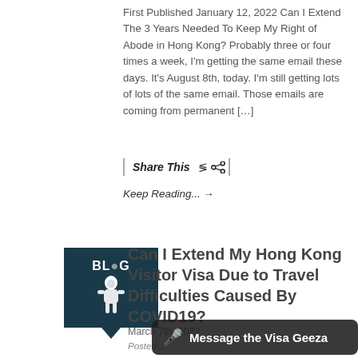First Published January 12, 2022 Can I Extend The 3 Years Needed To Keep My Right of Abode in Hong Kong? Probably three or four times a week, I'm getting the same email these days. It's August 8th, today. I'm still getting lots of lots of the same email. Those emails are coming from permanent […]
Share This
Keep Reading... →
[Figure (illustration): Blog logo with a white astronaut figure on a dark teal background, with the text BLOG and a downward pointing triangle below]
Can I Extend My Hong Kong Visitor Visa Due to Travel Difficulties Caused By COVID19?
March 7th, 2022
Posted...
Message the Visa Geeza